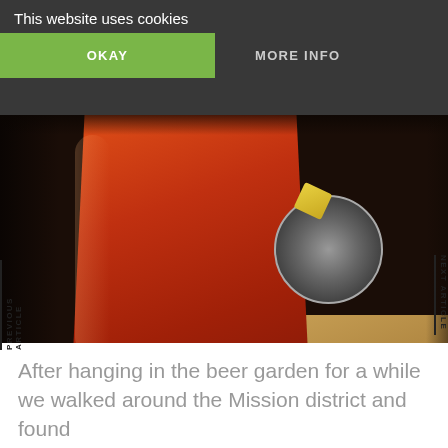This website uses cookies
OKAY
MORE INFO
[Figure (photo): Photo of a red/amber beer in a pint glass on a wooden bar table, with a bottle cap coaster and a business card visible in the background reading 'San Francisco's 8 best beer bars']
PREVIOUS ARTICLE
NEXT ARTICLE
After hanging in the beer garden for a while we walked around the Mission district and found